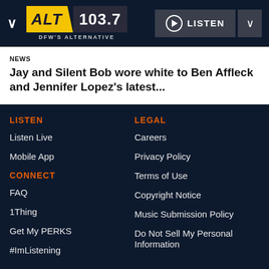[Figure (logo): ALT 103.7 DFW's Alternative radio station logo with yellow and dark color scheme, LISTEN button with play icon]
NEWS
Jay and Silent Bob wore white to Ben Affleck and Jennifer Lopez's latest...
LISTEN
Listen Live
Mobile App
CONNECT
FAQ
1Thing
Get My PERKS
#ImListening
LEGAL
Careers
Privacy Policy
Terms of Use
Copyright Notice
Music Submission Policy
Do Not Sell My Personal Information
[Figure (illustration): Orange outlined play button circle icon in footer]